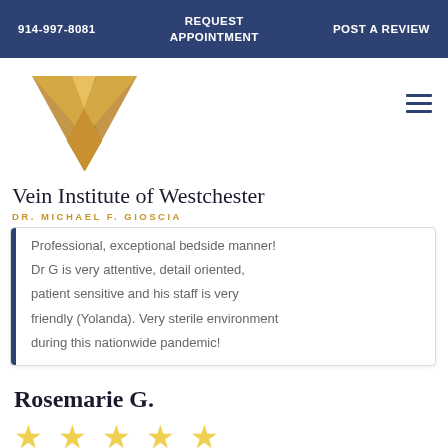914-997-8081  REQUEST APPOINTMENT  POST A REVIEW
[Figure (logo): Vein Institute of Westchester gold W logo mark]
Vein Institute of Westchester
DR. MICHAEL F. GIOSCIA
Professional, exceptional bedside manner! Dr G is very attentive, detail oriented, patient sensitive and his staff is very friendly (Yolanda). Very sterile environment during this nationwide pandemic!
Rosemarie G.
[Figure (other): Five gold star rating]